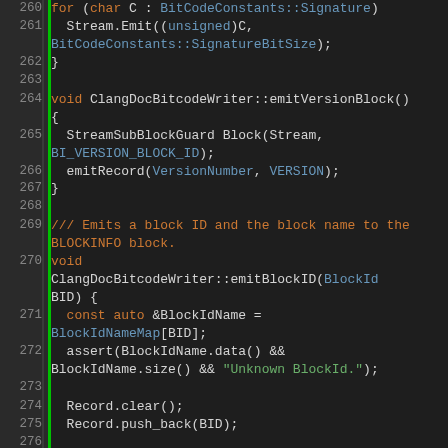[Figure (screenshot): Source code viewer showing C++ code for ClangDocBitcodeWriter, lines 260-280, with syntax highlighting on dark background. Line numbers shown on left with green gutter markers.]